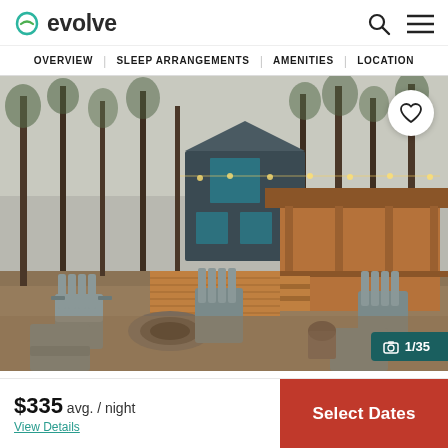evolve
OVERVIEW  SLEEP ARRANGEMENTS  AMENITIES  LOCATION
[Figure (photo): Exterior photo of a modern cabin with blue-grey siding and wood deck surrounded by pine trees. A fire pit with Adirondack chairs is in the foreground. String lights decorate the covered porch. Photo counter shows 1/35.]
$335 avg. / night
View Details
Select Dates